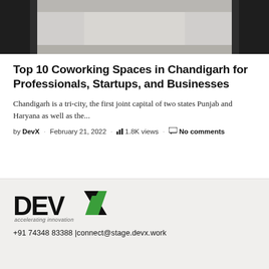[Figure (photo): Top portion of a coworking space photo showing dark walls/pillars on sides and a light-colored center area, possibly an interior corridor or hall]
Top 10 Coworking Spaces in Chandigarh for Professionals, Startups, and Businesses
Chandigarh is a tri-city, the first joint capital of two states Punjab and Haryana as well as the...
by DevX · February 21, 2022 · 1.8K views · No comments
[Figure (logo): DevX logo with text 'accelerating innovation' tagline]
+91 74348 83388 |connect@stage.devx.work